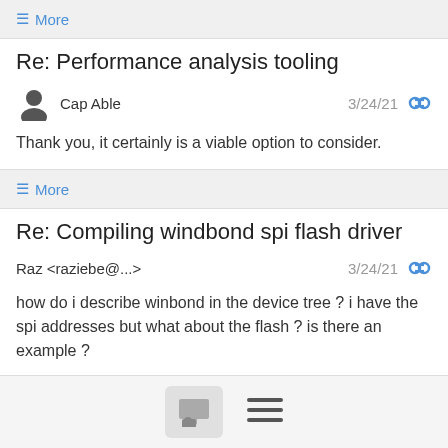≡ More
Re: Performance analysis tooling
Cap Able   3/24/21
Thank you, it certainly is a viable option to consider.
≡ More
Re: Compiling windbond spi flash driver
Raz <raziebe@...>   3/24/21
how do i describe winbond in the device tree ? i have the spi addresses but what about the flash ? is there an example ?
Show quoted text